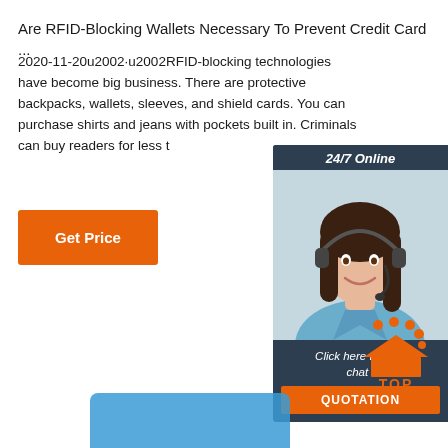Are RFID-Blocking Wallets Necessary To Prevent Credit Card ...
2020-11-20u2002·u2002RFID-blocking technologies have become big business. There are protective backpacks, wallets, sleeves, and shield cards. You can purchase shirts and jeans with pockets built in. Criminals can buy readers for less t
[Figure (other): Orange 'Get Price' button]
[Figure (other): 24/7 Online chat widget with woman wearing headset, 'Click here for free chat!' text, and orange QUOTATION button]
[Figure (other): Orange TOP button with dots and house/triangle shape]
[Figure (other): Blue product image at bottom of page]